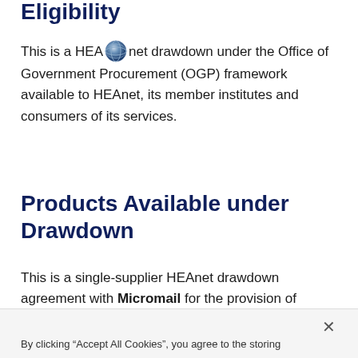Eligibility
This is a HEAnet drawdown under the Office of Government Procurement (OGP) framework available to HEAnet, its member institutes and consumers of its services.
Products Available under Drawdown
This is a single-supplier HEAnet drawdown agreement with Micromail for the provision of Microsoft campus licensing requirements covering renewal, software and associated
By clicking "Accept All Cookies", you agree to the storing